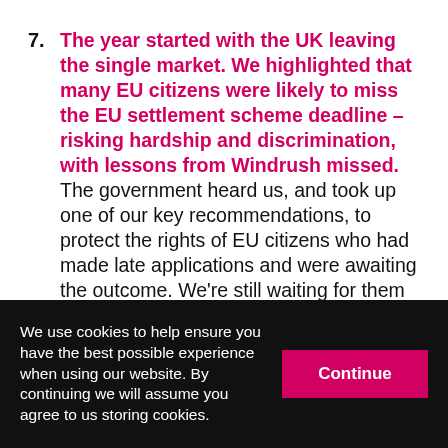7. The year started with the UK leaving the single market. We highlighted that many EU citizens were likely to miss the EU settlement scheme deadline – risking hardship and discrimination, with lessons from Windrush missed. The government heard us, and took up one of our key recommendations, to protect the rights of EU citizens who had made late applications and were awaiting the outcome. We're still waiting for them to heed our warnings on the damaging effects of the hostile environment and new rules on No Recourse to Public Funds
We use cookies to help ensure you have the best possible experience when using our website. By continuing we will assume you agree to us storing cookies.